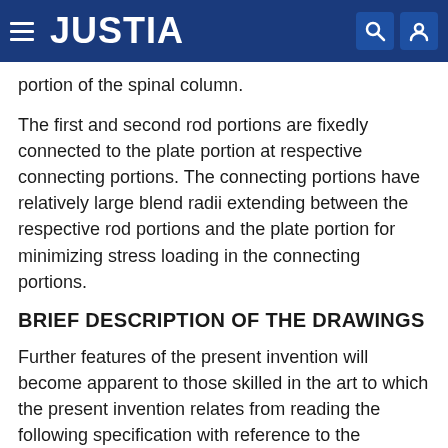JUSTIA
portion of the spinal column.
The first and second rod portions are fixedly connected to the plate portion at respective connecting portions. The connecting portions have relatively large blend radii extending between the respective rod portions and the plate portion for minimizing stress loading in the connecting portions.
BRIEF DESCRIPTION OF THE DRAWINGS
Further features of the present invention will become apparent to those skilled in the art to which the present invention relates from reading the following specification with reference to the accompanying drawings, in which:
FIG. 1 is a view of one embodiment of the surgically